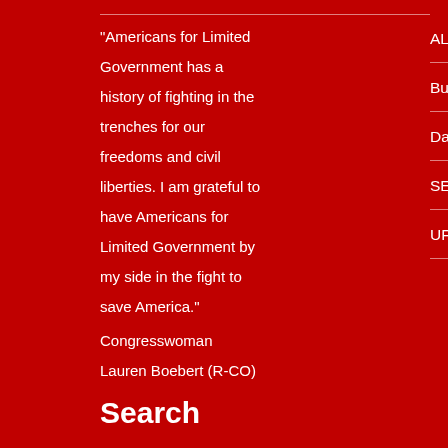“Americans for Limited Government has a history of fighting in the trenches for our freedoms and civil liberties. I am grateful to have Americans for Limited Government by my side in the fight to save America.” Congresswoman Lauren Boebert (R-CO)
Search
ALG FOIA Files
BuildWallNow.org
Daily Torch
SEIU Monitor
UFCW Monitor